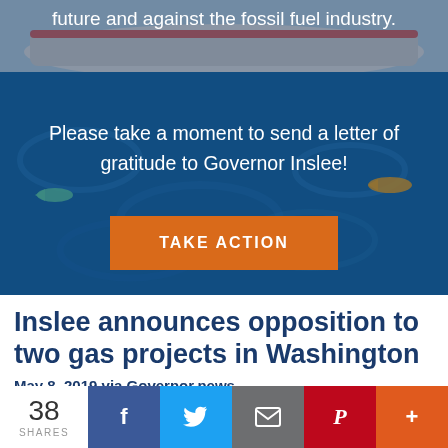[Figure (photo): Colorful mural depicting ocean waves with fish, and a boat — used as background for call-to-action section]
future and against the fossil fuel industry.
Please take a moment to send a letter of gratitude to Governor Inslee!
TAKE ACTION
Inslee announces opposition to two gas projects in Washington
May 8, 2019 via Governor.news
38 SHARES | Facebook | Twitter | Email | Pinterest | More